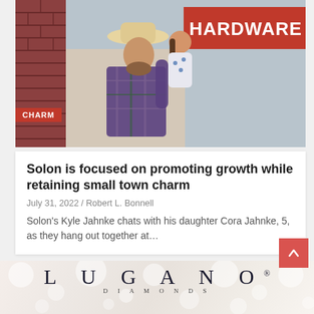[Figure (photo): A man in a cowboy hat holding and chatting with his young daughter in front of a hardware store with red sign. A red badge reading CHARM is overlaid in the lower left of the photo.]
Solon is focused on promoting growth while retaining small town charm
July 31, 2022 / Robert L. Bonnell
Solon's Kyle Jahnke chats with his daughter Cora Jahnke, 5, as they hang out together at…
[Figure (logo): Lugano Diamonds logo with bokeh light background. Large spaced serif letters LUGANO with registered trademark symbol, and DIAMONDS in smaller spaced text below.]